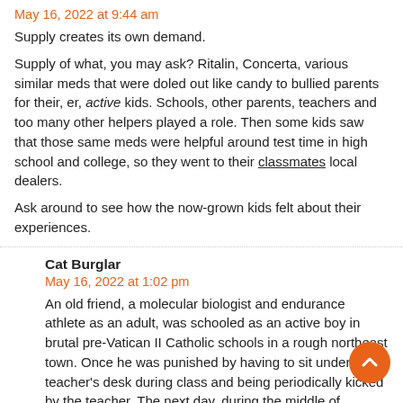May 16, 2022 at 9:44 am
Supply creates its own demand.
Supply of what, you may ask? Ritalin, Concerta, various similar meds that were doled out like candy to bullied parents for their, er, active kids. Schools, other parents, teachers and too many other helpers played a role. Then some kids saw that those same meds were helpful around test time in high school and college, so they went to their classmates local dealers.
Ask around to see how the now-grown kids felt about their experiences.
Cat Burglar
May 16, 2022 at 1:02 pm
An old friend, a molecular biologist and endurance athlete as an adult, was schooled as an active boy in brutal pre-Vatican II Catholic schools in a rough northeast town. Once he was punished by having to sit under the teacher's desk during class and being periodically kicked by the teacher. The next day, during the middle of